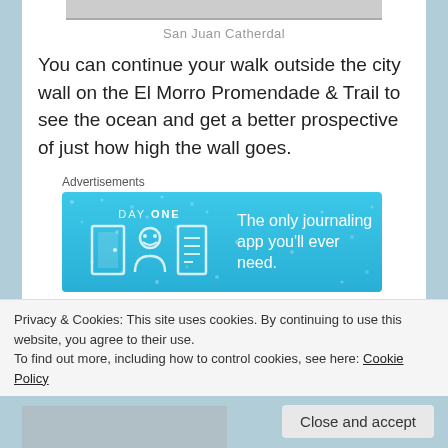San Juan Catherdal
You can continue your walk outside the city wall on the El Morro Promendade & Trail to see the ocean and get a better prospective of just how high the wall goes.
[Figure (other): Day One journaling app advertisement banner with teal/blue background, app icons, and text: The only journaling app you'll ever need.]
Then head north-east to the San Felipe Del Morro Castle. This is a national park with small entrance
Privacy & Cookies: This site uses cookies. By continuing to use this website, you agree to their use.
To find out more, including how to control cookies, see here: Cookie Policy